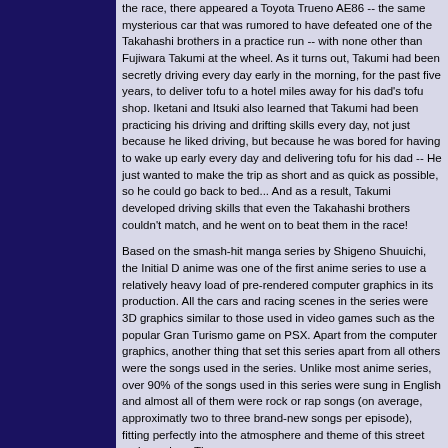the race, there appeared a Toyota Trueno AE86 -- the same mysterious car that was rumored to have defeated one of the Takahashi brothers in a practice run -- with none other than Fujiwara Takumi at the wheel. As it turns out, Takumi had been secretly driving every day early in the morning, for the past five years, to deliver tofu to a hotel miles away for his dad's tofu shop. Iketani and Itsuki also learned that Takumi had been practicing his driving and drifting skills every day, not just because he liked driving, but because he was bored for having to wake up early every day and delivering tofu for his dad -- He just wanted to make the trip as short and as quick as possible, so he could go back to bed... And as a result, Takumi developed driving skills that even the Takahashi brothers couldn't match, and he went on to beat them in the race!
Based on the smash-hit manga series by Shigeno Shuuichi, the Initial D anime was one of the first anime series to use a relatively heavy load of pre-rendered computer graphics in its production. All the cars and racing scenes in the series were 3D graphics similar to those used in video games such as the popular Gran Turismo game on PSX. Apart from the computer graphics, another thing that set this series apart from all others were the songs used in the series. Unlike most anime series, over 90% of the songs used in this series were sung in English and almost all of them were rock or rap songs (on average, approximatly two to three brand-new songs per episode), fitting perfectly into the atmosphere and theme of this street racing anime. The